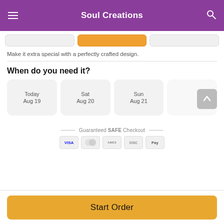Soul Creations
Make it extra special with a perfectly crafted design.
When do you need it?
Today Aug 19
Sat Aug 20
Sun Aug 21
Guaranteed SAFE Checkout
[Figure (infographic): Payment icons: VISA, Mastercard, American Express, Discover, Apple Pay]
Start Order